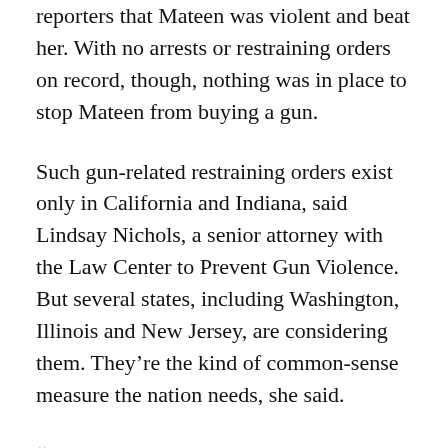reporters that Mateen was violent and beat her. With no arrests or restraining orders on record, though, nothing was in place to stop Mateen from buying a gun.
Such gun-related restraining orders exist only in California and Indiana, said Lindsay Nichols, a senior attorney with the Law Center to Prevent Gun Violence. But several states, including Washington, Illinois and New Jersey, are considering them. They’re the kind of common-sense measure the nation needs, she said.
“I think state lawmakers need to start taking serious action,” Nichols said. “We need to quicken the pace because people are dying on a daily basis